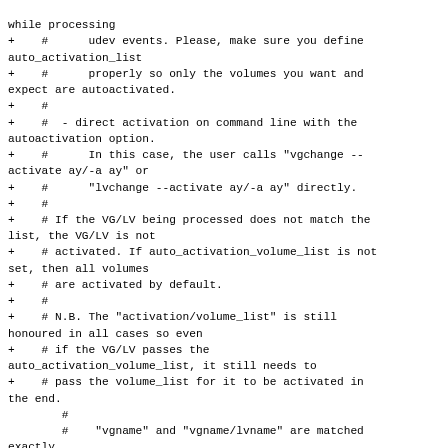while processing
+    #      udev events. Please, make sure you define auto_activation_list
+    #      properly so only the volumes you want and expect are autoactivated.
+    #
+    #  - direct activation on command line with the autoactivation option.
+    #      In this case, the user calls "vgchange --activate ay/-a ay" or
+    #      "lvchange --activate ay/-a ay" directly.
+    #
+    # If the VG/LV being processed does not match the list, the VG/LV is not
+    # activated. If auto_activation_volume_list is not set, then all volumes
+    # are activated by default.
+    #
+    # N.B. The "activation/volume_list" is still honoured in all cases so even
+    # if the VG/LV passes the auto_activation_volume_list, it still needs to
+    # pass the volume_list for it to be activated in the end.
        #
        #    "vgname" and "vgname/lvname" are matched exactly.
        #    "@tag" matches any tag set in the LV or VG.
diff --git a/man/lvchange.8.in b/man/lvchange.8.in
index 2271d4c..d5041f3 100644